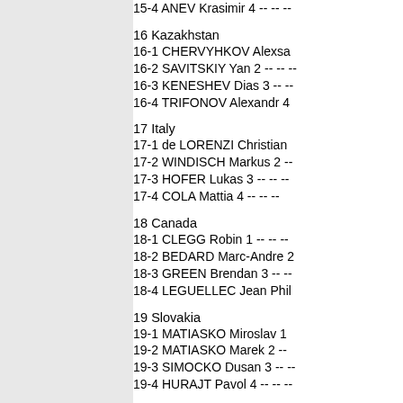15-4 ANEV Krasimir 4 -- -- --
16 Kazakhstan
16-1 CHERVYHKOV Alexsa
16-2 SAVITSKIY Yan 2 -- -- --
16-3 KENESHEV Dias 3 -- --
16-4 TRIFONOV Alexandr 4
17 Italy
17-1 de LORENZI Christian
17-2 WINDISCH Markus 2 --
17-3 HOFER Lukas 3 -- -- --
17-4 COLA Mattia 4 -- -- --
18 Canada
18-1 CLEGG Robin 1 -- -- --
18-2 BEDARD Marc-Andre 2
18-3 GREEN Brendan 3 -- --
18-4 LEGUELLEC Jean Phil
19 Slovakia
19-1 MATIASKO Miroslav 1
19-2 MATIASKO Marek 2 --
19-3 SIMOCKO Dusan 3 -- --
19-4 HURAJT Pavol 4 -- -- --
--
Dernière modification par ca
Allez Simon et Martin, les d
Champions olympiques